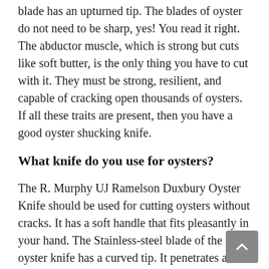blade has an upturned tip. The blades of oyster do not need to be sharp, yes! You read it right. The abductor muscle, which is strong but cuts like soft butter, is the only thing you have to cut with it. They must be strong, resilient, and capable of cracking open thousands of oysters. If all these traits are present, then you have a good oyster shucking knife.
What knife do you use for oysters?
The R. Murphy UJ Ramelson Duxbury Oyster Knife should be used for cutting oysters without cracks. It has a soft handle that fits pleasantly in your hand. The Stainless-steel blade of the oyster knife has a curved tip. It penetrates and then pries open oyster shells without losing grip. Moreover, this oyster knife is clean in the dishwasher. We